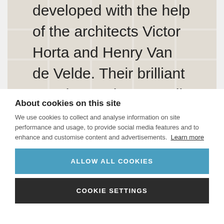[Figure (photo): Partial view of an architectural image with a grid-like pattern, showing text overlay about architects Victor Horta and Henry Van de Velde.]
developed with the help of the architects Victor Horta and Henry Van de Velde. Their brilliant creative works, as well as those of other architects, bring pleasure to
About cookies on this site
We use cookies to collect and analyse information on site performance and usage, to provide social media features and to enhance and customise content and advertisements. Learn more
ALLOW ALL COOKIES
COOKIE SETTINGS